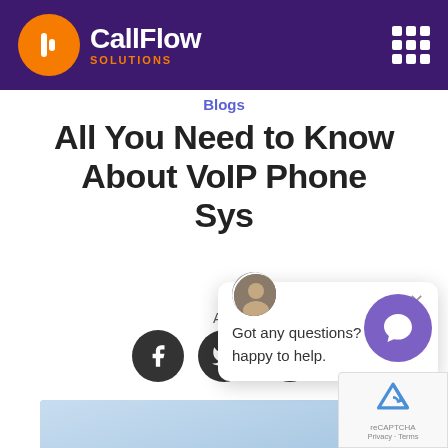[Figure (logo): CallFlow Solutions logo with orange circle icon and white/orange text on purple header background]
Blogs
All You Need to Know About VoIP Phone Systems
Apr
[Figure (illustration): Three dark circular social media share buttons (Facebook, Twitter, link/share)]
[Figure (photo): Hero image showing VoIP/telecom technology with headset and digital interface icons on blue background]
[Figure (screenshot): Chat popup with agent avatar and message: Got any questions? I'm happy to help.]
[Figure (illustration): Purple circular chat button widget in bottom right corner]
[Figure (logo): Google reCAPTCHA badge with Privacy and Terms links]